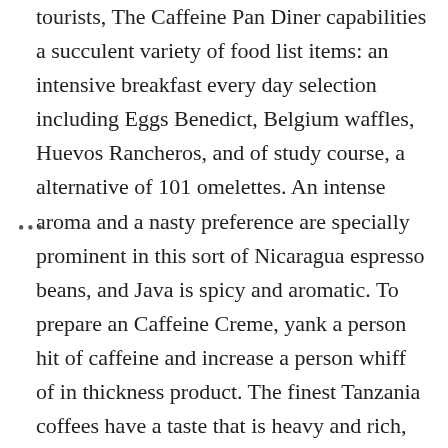tourists, The Caffeine Pan Diner capabilities a succulent variety of food list items: an intensive breakfast every day selection including Eggs Benedict, Belgium waffles, Huevos Rancheros, and of study course, a alternative of 101 omelettes. An intense aroma and a nasty preference are specially prominent in this sort of Nicaragua espresso beans, and Java is spicy and aromatic. To prepare an Caffeine Creme, yank a person hit of caffeine and increase a person whiff of in thickness product. The finest Tanzania coffees have a taste that is heavy and rich, frequently revealing hints of black currant which soften to chocolate and then blend into the coffee's loitering, sweet finish. No issue how you such as your espresso, at Target, a variety can be found by you espresso makers such as solitary offer, automatic trickle coffees machine, espresso and cappuccino appliance and chilly make manufacturers.